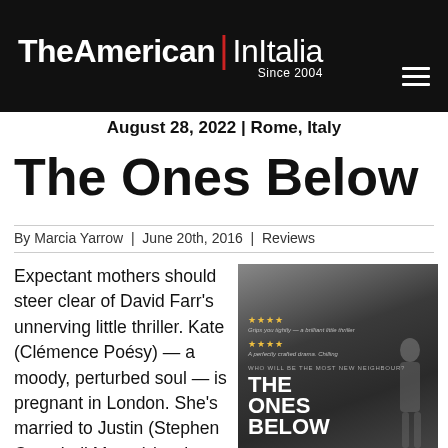TheAmerican | InItalia Since 2004
August 28, 2022 | Rome, Italy
The Ones Below
By Marcia Yarrow | June 20th, 2016 | Reviews
Expectant mothers should steer clear of David Farr's unnerving little thriller. Kate (Clémence Poésy) — a moody, perturbed soul — is pregnant in London. She's married to Justin (Stephen Campbell Moore) in what seems like a perfectly
[Figure (photo): Movie poster for 'The Ones Below' showing a dark atmospheric image with a figure looking upward, title text in large bold white letters, and star ratings/quotes at the top]